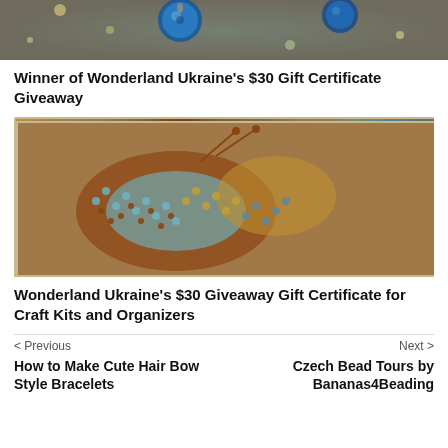[Figure (photo): Top portion of a photo showing blue Christmas ornaments and beaded craft decorations with bokeh lights in the background]
Winner of Wonderland Ukraine's $30 Gift Certificate Giveaway
[Figure (photo): Close-up photo of a beaded butterfly craft with blue, brown, and gold beads in a decorative frame]
Wonderland Ukraine's $30 Giveaway Gift Certificate for Craft Kits and Organizers
< Previous
Next >
How to Make Cute Hair Bow Style Bracelets
Czech Bead Tours by Bananas4Beading